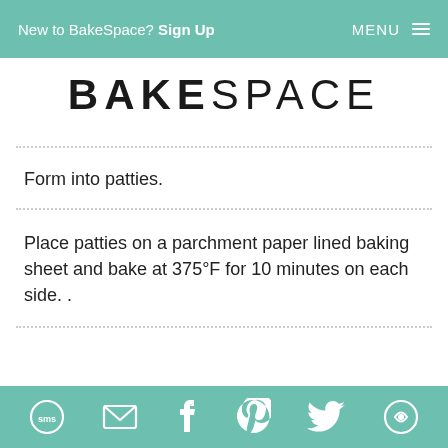New to BakeSpace? Sign Up   MENU
BAKESPACE
Form into patties.
Place patties on a parchment paper lined baking sheet and bake at 375°F for 10 minutes on each side. .
SMS, Email, Facebook, Pinterest, Twitter, Share icons